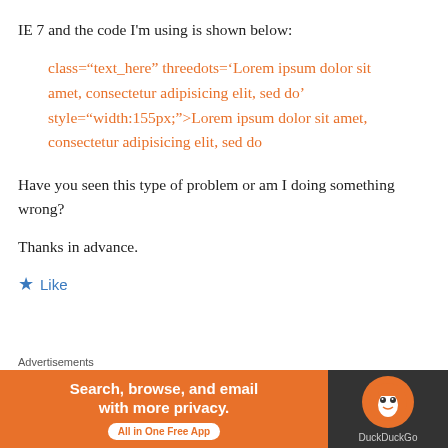IE 7 and the code I'm using is shown below:
class="text_here" threedots='Lorem ipsum dolor sit amet, consectetur adipisicing elit, sed do' style="width:155px;">Lorem ipsum dolor sit amet, consectetur adipisicing elit, sed do
Have you seen this type of problem or am I doing something wrong?
Thanks in advance.
★ Like
Mark on July 15, 2011 at 3:33 pm
[Figure (infographic): DuckDuckGo advertisement banner: orange background with text 'Search, browse, and email with more privacy. All in One Free App' and DuckDuckGo logo on dark background]